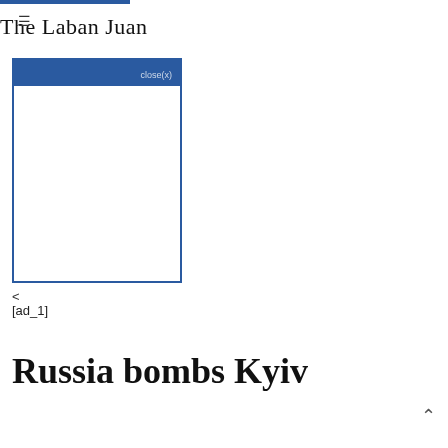The Laban Juan
[Figure (other): Advertisement box with blue header showing 'close(x)' and white content area, with a left arrow navigation element below]
[ad_1]
Russia bombs Kyiv